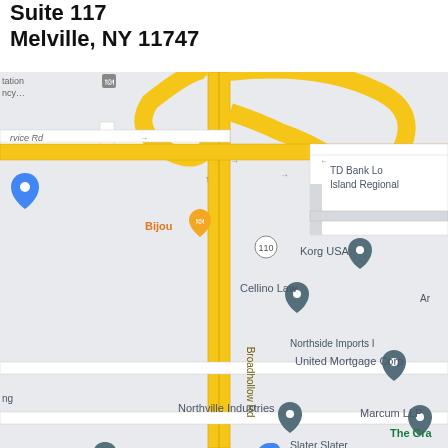Suite 117
Melville, NY 11747
[Figure (map): Google Maps screenshot showing Broadhollow Rd area in Melville, NY 11747. Landmarks visible include TD Bank Long Island Regional, Korg USA, Cellino Law, Northside Imports, United Mortgage Corp, Northville Industries, Marcum LLP, Slater Slater Schulman LLP, The Gra[nd], Citizens Bank, Marnell Law Group, Melville Northwell Health, Bijou restaurant, and a Group PC office. Route 110 runs through the center.]